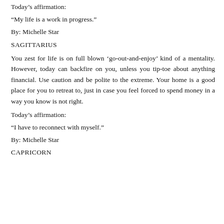Today’s affirmation:
“My life is a work in progress.”
By: Michelle Star
SAGITTARIUS
You zest for life is on full blown ‘go-out-and-enjoy’ kind of a mentality. However, today can backfire on you, unless you tip-toe about anything financial. Use caution and be polite to the extreme. Your home is a good place for you to retreat to, just in case you feel forced to spend money in a way you know is not right.
Today’s affirmation:
“I have to reconnect with myself.”
By: Michelle Star
CAPRICORN